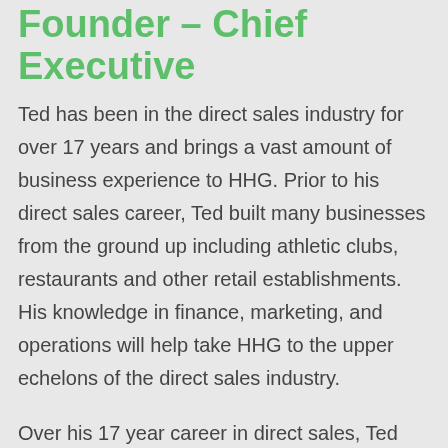Founder – Chief Executive
Ted has been in the direct sales industry for over 17 years and brings a vast amount of business experience to HHG. Prior to his direct sales career, Ted built many businesses from the ground up including athletic clubs, restaurants and other retail establishments. His knowledge in finance, marketing, and operations will help take HHG to the upper echelons of the direct sales industry.
Over his 17 year career in direct sales, Ted has hit the top positions in every company he has been